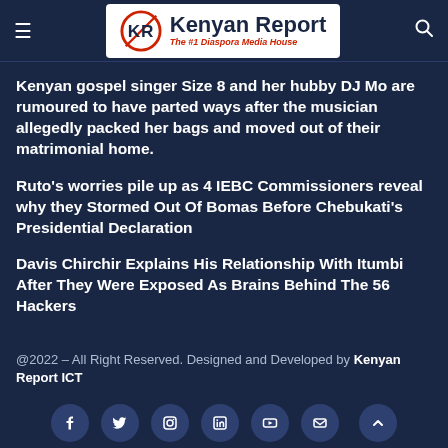Kenyan Report – The #1 Diaspora Media House
Kenyan gospel singer Size 8 and her hubby DJ Mo are rumoured to have parted ways after the musician allegedly packed her bags and moved out of their matrimonial home.
Ruto's worries pile up as 4 IEBC Commissioners reveal why they Stormed Out Of Bomas Before Chebukati's Presidential Declaration
Davis Chirchir Explains His Relationship With Itumbi After They Were Exposed As Brains Behind The 56 Hackers
@2022 – All Right Reserved. Designed and Developed by Kenyan Report ICT